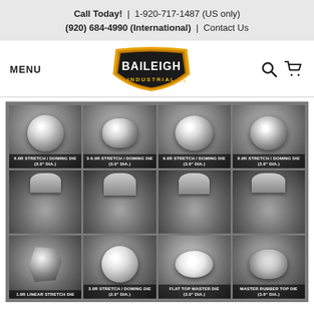Call Today! | 1-920-717-1487 (US only)
(920) 684-4990 (International) | Contact Us
[Figure (logo): Baileigh Industrial logo — shield shape with orange/gold background, white text BAILEIGH, yellow text INDUSTRIAL]
[Figure (photo): Grid of metalworking stretch/doming dies and master dies: 6.0R Stretch/Doming Die (3.0" Dia.), 3-6.0R Stretch/Doming Die (3.0" Dia.), 6.0R Stretch/Doming Die (3.0" Dia.), 8.0R Stretch/Doming Die (3.0" Dia.), (bottom halves of same), 1.0R Linear Stretch Die, 3.0R Stretch/Doming Die (2.0" Dia.), Flat Top Master Die (3.0" Dia.), Master Rubber Top Die (3.0" Dia.)]